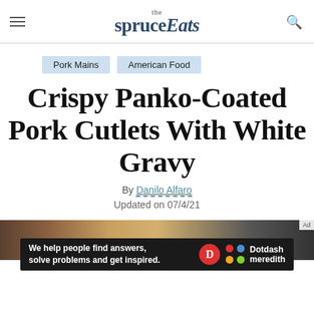the spruce Eats
Pork Mains
American Food
Crispy Panko-Coated Pork Cutlets With White Gravy
By Danilo Alfaro
Updated on 07/4/21
[Figure (photo): Partial photo of pork cutlets in a pan, partially obscured by advertisement banner]
We help people find answers, solve problems and get inspired. Dotdash meredith